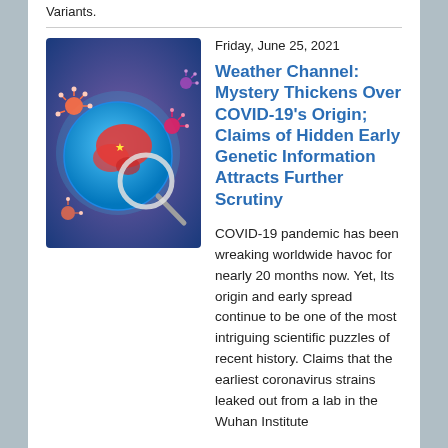Variants.
Friday, June 25, 2021
[Figure (illustration): Colorful illustration showing a globe with coronavirus particles and a magnifying glass, featuring red and blue tones with China imagery.]
Weather Channel: Mystery Thickens Over COVID-19's Origin; Claims of Hidden Early Genetic Information Attracts Further Scrutiny
COVID-19 pandemic has been wreaking worldwide havoc for nearly 20 months now. Yet, Its origin and early spread continue to be one of the most intriguing scientific puzzles of recent history. Claims that the earliest coronavirus strains leaked out from a lab in the Wuhan Institute